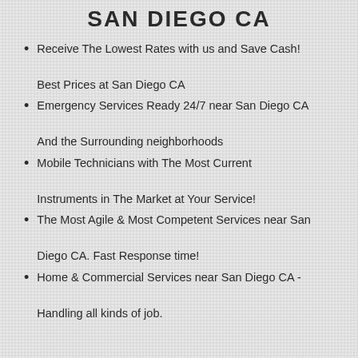SAN DIEGO CA
Receive The Lowest Rates with us and Save Cash!

Best Prices at San Diego CA
Emergency Services Ready 24/7 near San Diego CA

And the Surrounding neighborhoods
Mobile Technicians with The Most Current

Instruments in The Market at Your Service!
The Most Agile & Most Competent Services near San

Diego CA. Fast Response time!
Home & Commercial Services near San Diego CA -

Handling all kinds of job.